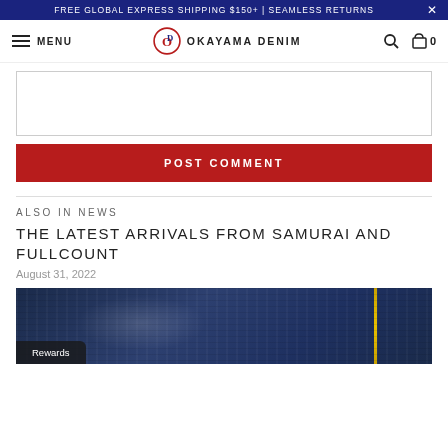FREE GLOBAL EXPRESS SHIPPING $150+ | SEAMLESS RETURNS
MENU  OKAYAMA DENIM  0
[Figure (screenshot): Text area input box for comment]
POST COMMENT
ALSO IN NEWS
THE LATEST ARRIVALS FROM SAMURAI AND FULLCOUNT
August 31, 2022
[Figure (photo): Close-up photo of folded dark denim jeans showing fabric texture and yellow stitching seam]